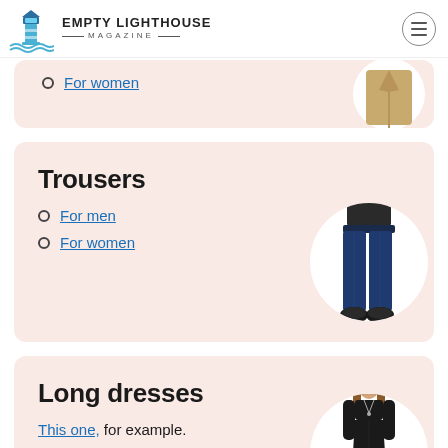EMPTY LIGHTHOUSE MAGAZINE
For women
Trousers
For men
For women
Long dresses
This one, for example.